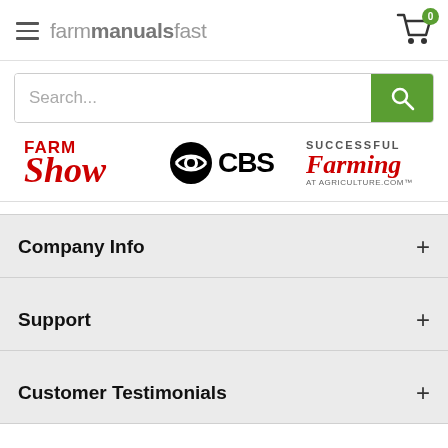farmmanualsfast — header with hamburger menu and cart (0 items)
Search...
[Figure (logo): Three media logos: Farm Show (red), CBS (black), Successful Farming at Agriculture.com]
Company Info +
Support +
Customer Testimonials +